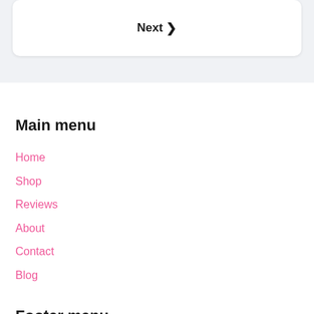Next ❯
Main menu
Home
Shop
Reviews
About
Contact
Blog
Footer menu
Shipping & Delivery